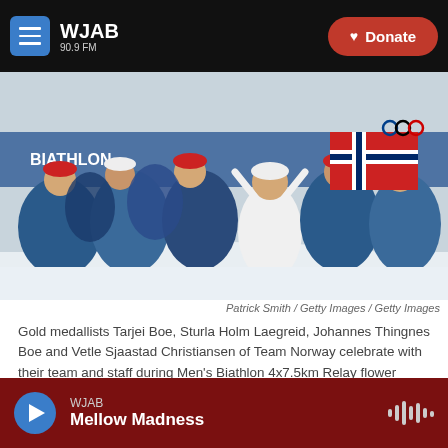WJAB 90.9 FM | Donate
[Figure (photo): Group photo of Norwegian biathlon team celebrating gold medal at 2022 Beijing Winter Olympics, holding Norwegian flag, kneeling and sitting in snow]
Patrick Smith / Getty Images / Getty Images
Gold medallists Tarjei Boe, Sturla Holm Laegreid, Johannes Thingnes Boe and Vetle Sjaastad Christiansen of Team Norway celebrate with their team and staff during Men's Biathlon 4x7.5km Relay flower ceremony on February 15, 2022 at the Beijing Winter Olympics.
Tags   NPR News
WJAB  Mellow Madness